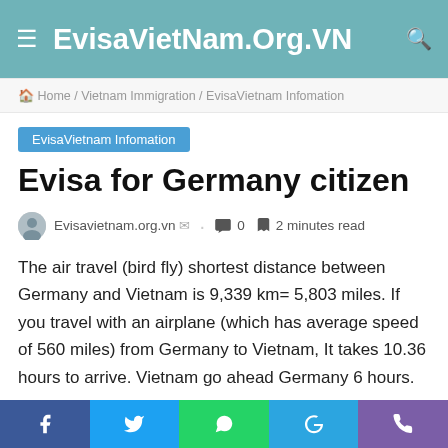EvisaVietNam.Org.VN
Home / Vietnam Immigration / EvisaVietnam Infomation
EvisaVietnam Infomation
Evisa for Germany citizen
Evisavietnam.org.vn · 0 · 2 minutes read
The air travel (bird fly) shortest distance between Germany and Vietnam is 9,339 km= 5,803 miles. If you travel with an airplane (which has average speed of 560 miles) from Germany to Vietnam, It takes 10.36 hours to arrive. Vietnam go ahead Germany 6 hours.